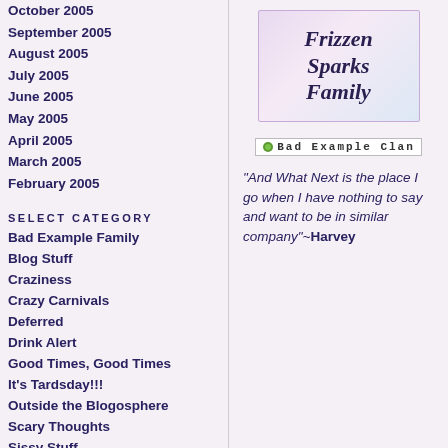October 2005
September 2005
August 2005
July 2005
June 2005
May 2005
April 2005
March 2005
February 2005
SELECT CATEGORY
Bad Example Family
Blog Stuff
Craziness
Crazy Carnivals
Deferred
Drink Alert
Good Times, Good Times
It's Tardsday!!!
Outside the Blogosphere
Scary Thoughts
Sissy Stuff
The World of Kiki
Wacky Happenings
[Figure (illustration): Frizzen Sparks Family logo — italic bold serif text on a soft purple/blue gradient background]
[Figure (illustration): Bad Example Clan image link with small green icon]
"And What Next is the place I go when I have nothing to say and want to be in similar company"~Harvey